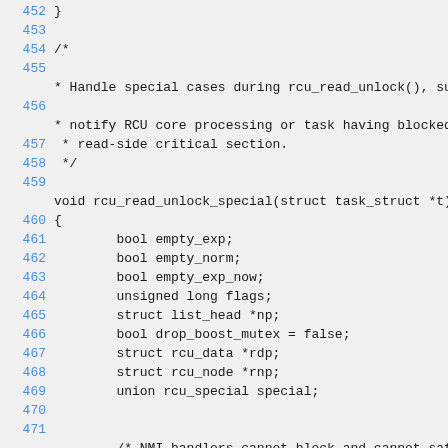Source code listing showing rcu_read_unlock_special function, lines 452-472
452 }
453
454 /*
455
* Handle special cases during rcu_read_unlock(), such a
456
* notify RCU core processing or task having blocked dur
457  * read-side critical section.
458  */
459
void rcu_read_unlock_special(struct task_struct *t)
460 {
461         bool empty_exp;
462         bool empty_norm;
463         bool empty_exp_now;
464         unsigned long flags;
465         struct list_head *np;
466         bool drop_boost_mutex = false;
467         struct rcu_data *rdp;
468         struct rcu_node *rnp;
469         union rcu_special special;
470
471
/* NMI handlers cannot block and cannot safely m
472         if (in_nmi())